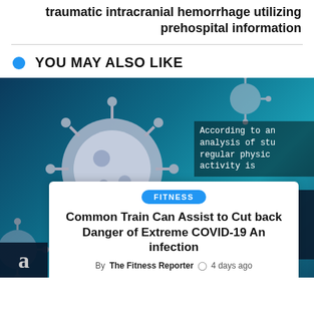traumatic intracranial hemorrhage utilizing prehospital information
YOU MAY ALSO LIKE
[Figure (photo): Dark blue background with microscopic virus/COVID-19 particle illustration. Overlaid white text reads: 'According to an analysis of stu regular physic activity is'. Right side overlay text: 'rit k o ID- se .com'. Bottom left shows letter 'a'.]
FITNESS
Common Train Can Assist to Cut back Danger of Extreme COVID-19 An infection
By The Fitness Reporter  4 days ago